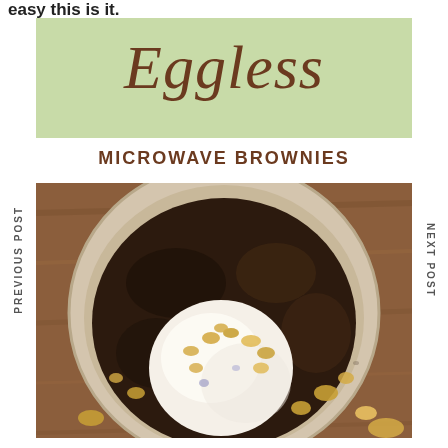easy this is it.
Eggless
MICROWAVE BROWNIES
[Figure (photo): Overhead view of a speckled ceramic bowl containing a dark chocolate brownie topped with a scoop of vanilla ice cream and chopped nuts, placed on a wooden surface.]
PREVIOUS POST
NEXT POST